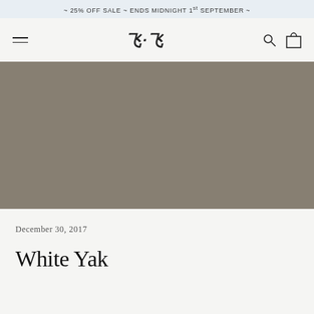~ 25% OFF SALE ~ ENDS MIDNIGHT 1st SEPTEMBER ~
[Figure (screenshot): Navigation bar with hamburger menu on left, stylized script logo in center, search and bag icons on right]
[Figure (photo): Large hero image area filled with muted taupe/khaki grey color, representing a product or editorial photo placeholder]
December 30, 2017
White Yak